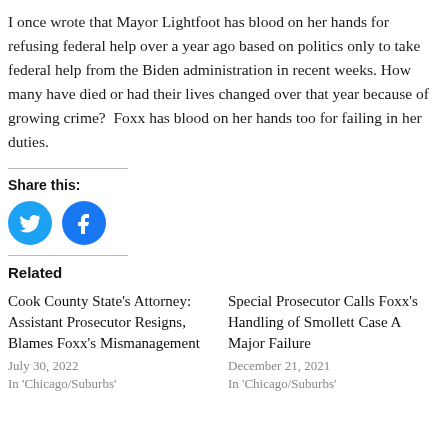I once wrote that Mayor Lightfoot has blood on her hands for refusing federal help over a year ago based on politics only to take federal help from the Biden administration in recent weeks. How many have died or had their lives changed over that year because of growing crime?  Foxx has blood on her hands too for failing in her duties.
Share this:
[Figure (illustration): Twitter and Facebook share icon buttons (blue circles with white bird and f logos)]
Related
Cook County State's Attorney: Assistant Prosecutor Resigns, Blames Foxx's Mismanagement
July 30, 2022
In 'Chicago/Suburbs'
Special Prosecutor Calls Foxx's Handling of Smollett Case A Major Failure
December 21, 2021
In 'Chicago/Suburbs'